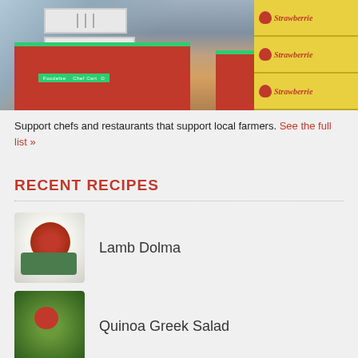[Figure (photo): Outdoor farmers market scene with red Chef Cart branded tables (Foodelse), crates and boxes on the tables, and stacked yellow strawberry boxes on the right side. People visible in background.]
Support chefs and restaurants that support local farmers. See the full list »
RECENT RECIPES
[Figure (photo): Lamb Dolma dish on a white plate — stuffed tomato and green stuffed grape leaves/vegetables]
Lamb Dolma
[Figure (photo): Quinoa Greek Salad — green leafy salad with tomatoes and quinoa grains in a bowl]
Quinoa Greek Salad